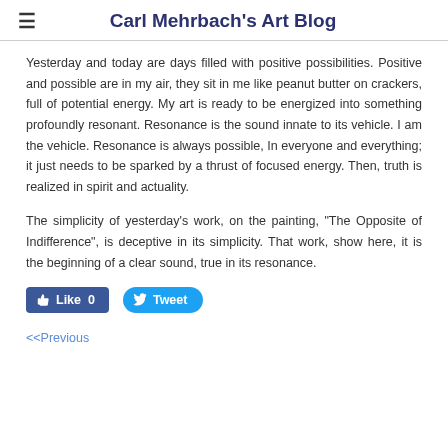Carl Mehrbach's Art Blog
Yesterday and today are days filled with positive possibilities. Positive and possible are in my air, they sit in me like peanut butter on crackers, full of potential energy. My art is ready to be energized into something profoundly resonant. Resonance is the sound innate to its vehicle. I am the vehicle. Resonance is always possible, In everyone and everything; it just needs to be sparked by a thrust of focused energy. Then, truth is realized in spirit and actuality.
The simplicity of yesterday's work, on the painting, "The Opposite of Indifference", is deceptive in its simplicity. That work, show here, it is the beginning of a clear sound, true in its resonance.
[Figure (other): Social media buttons: Facebook Like button with count 0 and Twitter Tweet button]
<<Previous